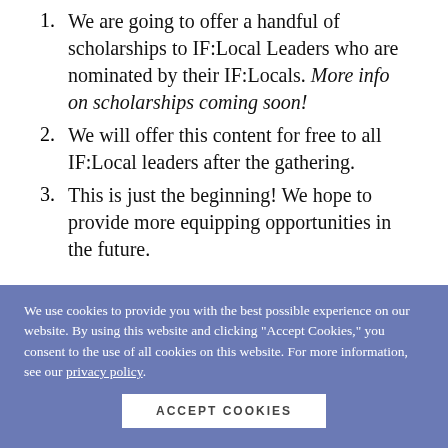We are going to offer a handful of scholarships to IF:Local Leaders who are nominated by their IF:Locals. More info on scholarships coming soon!
We will offer this content for free to all IF:Local leaders after the gathering.
This is just the beginning! We hope to provide more equipping opportunities in the future.
ACCOMMODATIONS
Hilton Orlando
6001 Destination Pkwy, Orlando, FL 32819
We use cookies to provide you with the best possible experience on our website. By using this website and clicking "Accept Cookies," you consent to the use of all cookies on this website. For more information, see our privacy policy.